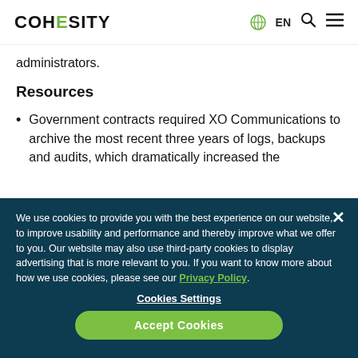COHESITY | EN
administrators.
Resources
Government contracts required XO Communications to archive the most recent three years of logs, backups and audits, which dramatically increased the
We use cookies to provide you with the best experience on our website, to improve usability and performance and thereby improve what we offer to you. Our website may also use third-party cookies to display advertising that is more relevant to you. If you want to know more about how we use cookies, please see our Privacy Policy.
Cookies Settings
Accept Cookies